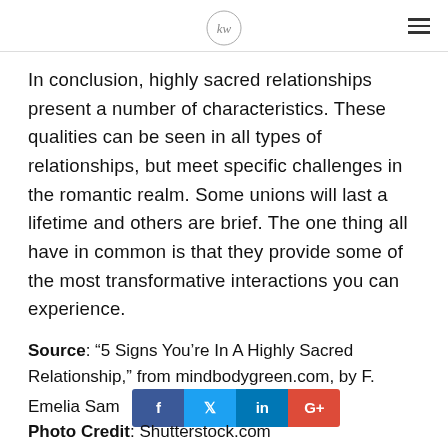[Logo] [Hamburger menu]
In conclusion, highly sacred relationships present a number of characteristics. These qualities can be seen in all types of relationships, but meet specific challenges in the romantic realm. Some unions will last a lifetime and others are brief. The one thing all have in common is that they provide some of the most transformative interactions you can experience.
Source: “5 Signs You’re In A Highly Sacred Relationship,” from mindbodygreen.com, by F. Emelia Sam [Facebook] [Twitter] [LinkedIn] [Google+]
Photo Credit: Shutterstock.com